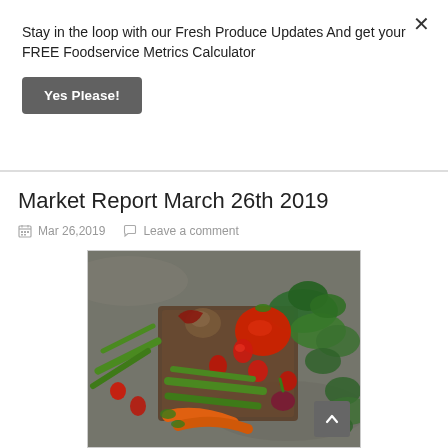Stay in the loop with our Fresh Produce Updates And get your FREE Foodservice Metrics Calculator
Yes Please!
Market Report March 26th 2019
Mar 26,2019   Leave a comment
[Figure (photo): Overhead view of fresh produce including strawberries, tomatoes, green beans, carrots, spinach leaves, radishes, mushrooms and other vegetables arranged on a dark rustic background]